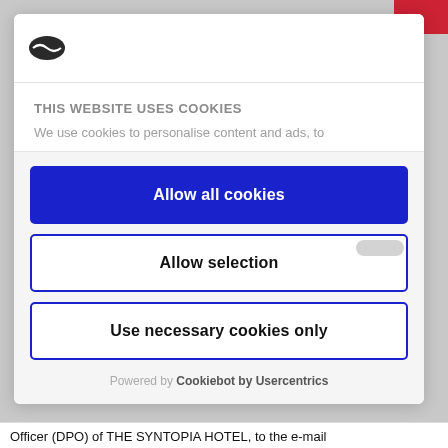[Figure (logo): Cookiebot logo - dark oval/coffee bean shape with white line detail]
THIS WEBSITE USES COOKIES
We use cookies to personalise content and ads, to
Allow all cookies
Allow selection
Use necessary cookies only
Powered by Cookiebot by Usercentrics
Officer (DPO) of THE SYNTOPIA HOTEL, to the e-mail